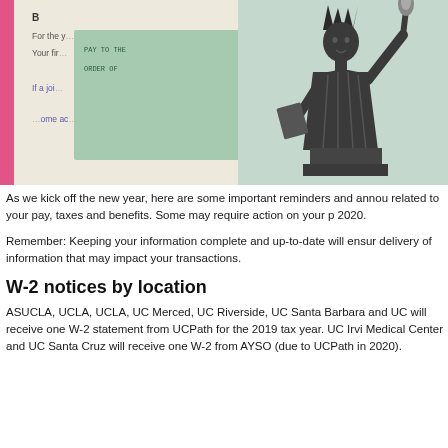[Figure (photo): Photo of a W-2 tax form overlapping with a green US Treasury check, and the Statue of Liberty illustration visible on the right side. A pink vertical bar on the left edge.]
As we kick off the new year, here are some important reminders and announcements related to your pay, taxes and benefits. Some may require action on your part in 2020.
Remember: Keeping your information complete and up-to-date will ensure timely delivery of information that may impact your transactions.
W-2 notices by location
ASUCLA, UCLA, UCLA, UC Merced, UC Riverside, UC Santa Barbara and UC will receive one W-2 statement from UCPath for the 2019 tax year. UC Irvine Medical Center and UC Santa Cruz will receive one W-2 from AYSO (due to UCPath in 2020).